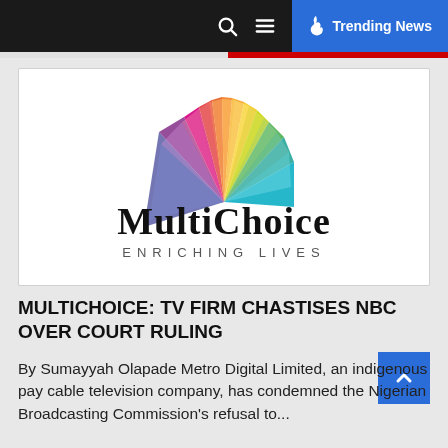Trending News
[Figure (logo): MultiChoice logo with colorful fan-shaped petals above the text 'MultiChoice' in stylized font and 'Enriching Lives' below in spaced capitals]
MULTICHOICE: TV FIRM CHASTISES NBC OVER COURT RULING
By Sumayyah Olapade Metro Digital Limited, an indigenous pay cable television company, has condemned the Nigerian Broadcasting Commission's refusal to...